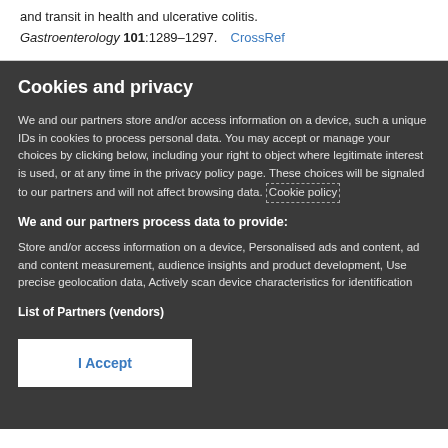and transit in health and ulcerative colitis.
Gastroenterology 101:1289–1297.   CrossRef
Cookies and privacy
We and our partners store and/or access information on a device, such a unique IDs in cookies to process personal data. You may accept or manage your choices by clicking below, including your right to object where legitimate interest is used, or at any time in the privacy policy page. These choices will be signaled to our partners and will not affect browsing data. Cookie policy
We and our partners process data to provide:
Store and/or access information on a device, Personalised ads and content, ad and content measurement, audience insights and product development, Use precise geolocation data, Actively scan device characteristics for identification
List of Partners (vendors)
I Accept